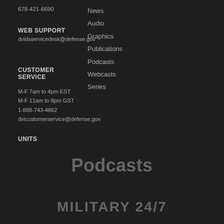678-421-6690
News
Audio
WEB SUPPORT
Graphics
dvidsservicedesk@defense.gov
Publications
Podcasts
Webcasts
CUSTOMER SERVICE
Series
M-F 7am to 4pm EST
M-F 11am to 8pm GST
1-888-743-4662
dvicustomerservice@defense.gov
UNITS
Podcasts
MILITARY 24/7